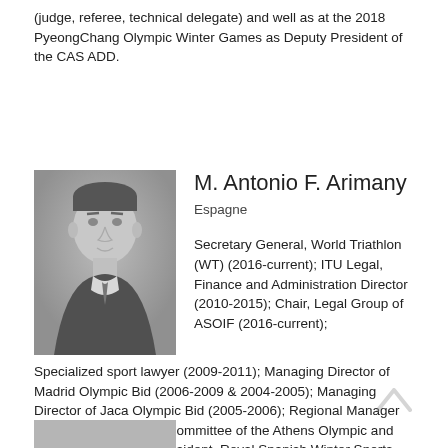(judge, referee, technical delegate) and well as at the 2018 PyeongChang Olympic Winter Games as Deputy President of the CAS ADD.
[Figure (photo): Black and white portrait photo of M. Antonio F. Arimany, a man in a suit and tie]
M. Antonio F. Arimany
Espagne
Secretary General, World Triathlon (WT) (2016-current); ITU Legal, Finance and Administration Director (2010-2015); Chair, Legal Group of ASOIF (2016-current); Specialized sport lawyer (2009-2011); Managing Director of Madrid Olympic Bid (2006-2009 & 2004-2005); Managing Director of Jaca Olympic Bid (2005-2006); Regional Manager for NOCs, Organising Committee of the Athens Olympic and Paralympic Games; President, Royal Spanish Winter Sports Federation (2001-2002) and General Secretary (1996-1997); Senior Tax Advisor & auditor, Garrigues Abogados (1997-2002); Finance & Legal Director, Royal Spanish Motoring Association (1996).